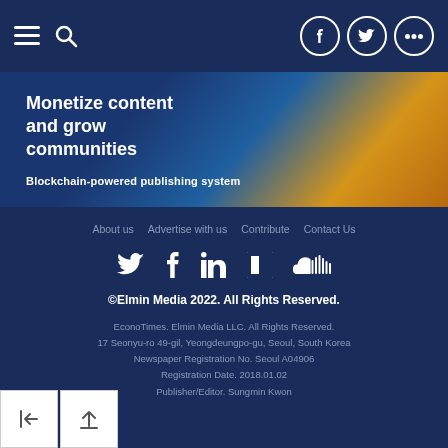Navigation bar with hamburger menu, search icon, and social icons (Facebook, Twitter, more)
[Figure (illustration): Advertisement banner with dark blue and gold gradient background showing text: Monetize content and grow communities / Blockchain-powered publishing system]
About us  Advertise with us  Contribute  Contact Us
Social icons: Twitter, Facebook, LinkedIn, Flipboard, SoundCloud
©Elmin Media 2022. All Rights Reserved.
EconoTimes. Elmin Media LLC. All Rights Reserved.
17 Seonyu-ro 49-gil, Yeongdeungpo-gu, Seoul, South Korea
Newspaper Registration No. Seoul A04906
Registration Date. 2018.01.02
Publisher/Editor. Sungmin Kwon